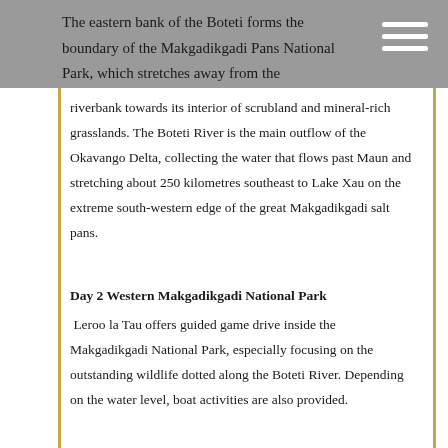The eastern bank of the Boteti forms the boundary of the Makgadikgadi Pans National Park, which stretches away from the
riverbank towards its interior of scrubland and mineral-rich grasslands. The Boteti River is the main outflow of the Okavango Delta, collecting the water that flows past Maun and stretching about 250 kilometres southeast to Lake Xau on the extreme south-western edge of the great Makgadikgadi salt pans.
Day 2 Western Makgadikgadi National Park
Leroo la Tau offers guided game drive inside the Makgadikgadi National Park, especially focusing on the outstanding wildlife dotted along the Boteti River. Depending on the water level, boat activities are also provided.
Optional cultural excursions can be arranged to Khumaga Village as